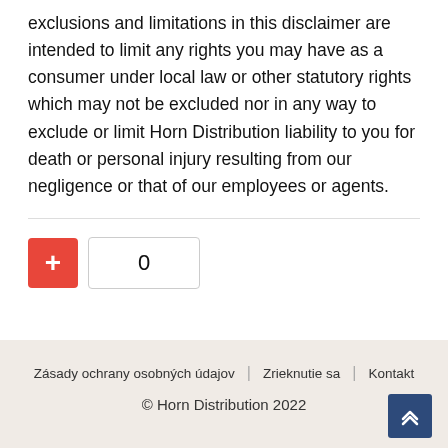exclusions and limitations in this disclaimer are intended to limit any rights you may have as a consumer under local law or other statutory rights which may not be excluded nor in any way to exclude or limit Horn Distribution liability to you for death or personal injury resulting from our negligence or that of our employees or agents.
Zásady ochrany osobných údajov | Zrieknutie sa | Kontakt
© Horn Distribution 2022